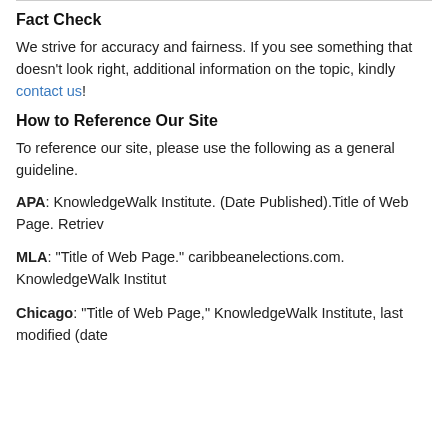Fact Check
We strive for accuracy and fairness. If you see something that doesn't look right, additional information on the topic, kindly contact us!
How to Reference Our Site
To reference our site, please use the following as a general guideline.
APA: KnowledgeWalk Institute. (Date Published).Title of Web Page. Retriev...
MLA: "Title of Web Page." caribbeanelections.com. KnowledgeWalk Institut...
Chicago: "Title of Web Page," KnowledgeWalk Institute, last modified (date...